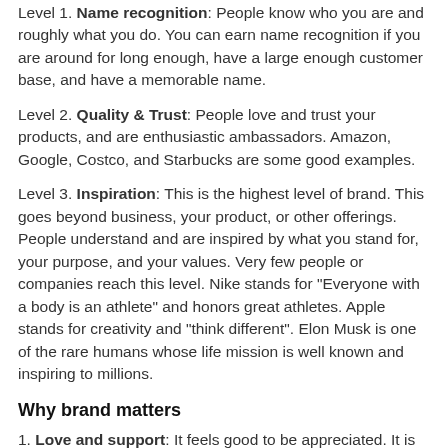Level 1. Name recognition: People know who you are and roughly what you do. You can earn name recognition if you are around for long enough, have a large enough customer base, and have a memorable name.
Level 2. Quality & Trust: People love and trust your products, and are enthusiastic ambassadors. Amazon, Google, Costco, and Starbucks are some good examples.
Level 3. Inspiration: This is the highest level of brand. This goes beyond business, your product, or other offerings. People understand and are inspired by what you stand for, your purpose, and your values. Very few people or companies reach this level. Nike stands for "Everyone with a body is an athlete" and honors great athletes. Apple stands for creativity and "think different". Elon Musk is one of the rare humans whose life mission is well known and inspiring to millions.
Why brand matters
1. Love and support: It feels good to be appreciated. It is powerful to be supported by others in your mission.